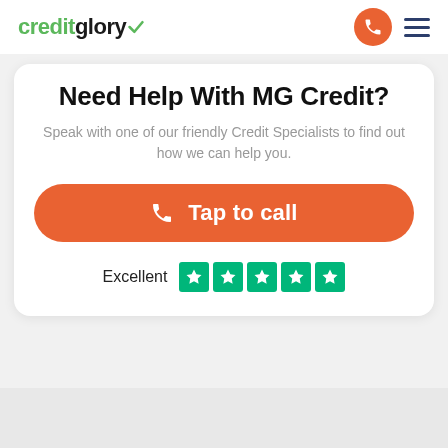creditglory
Need Help With MG Credit?
Speak with one of our friendly Credit Specialists to find out how we can help you.
Tap to call
Excellent